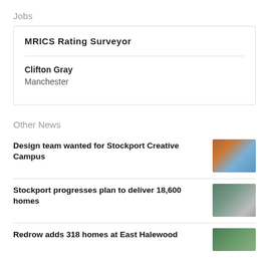Jobs
MRICS Rating Surveyor
Clifton Gray
Manchester
Other News
Design team wanted for Stockport Creative Campus
Stockport progresses plan to deliver 18,600 homes
Redrow adds 318 homes at East Halewood